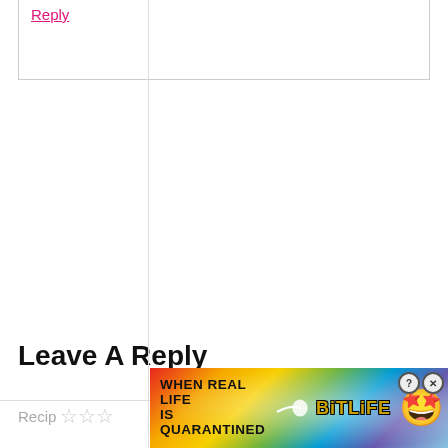Reply
Leave A Reply
Recipe Rating
[Figure (screenshot): BitLife advertisement banner with rainbow background, 'WHEN REAL LIFE IS QUARANTINED' text, BitLife logo, star-eyes emoji, and close/question mark buttons]